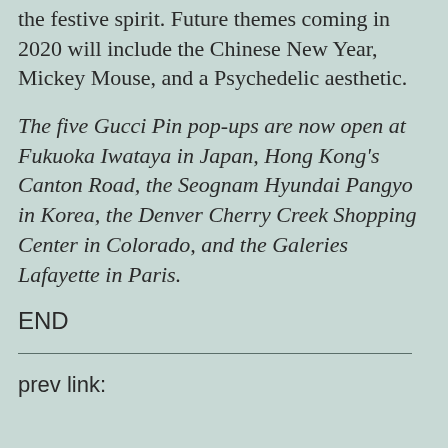the festive spirit. Future themes coming in 2020 will include the Chinese New Year, Mickey Mouse, and a Psychedelic aesthetic.
The five Gucci Pin pop-ups are now open at Fukuoka Iwataya in Japan, Hong Kong's Canton Road, the Seognam Hyundai Pangyo in Korea, the Denver Cherry Creek Shopping Center in Colorado, and the Galeries Lafayette in Paris.
END
prev link: